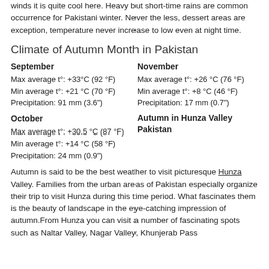winds it is quite cool here. Heavy but short-time rains are common occurrence for Pakistani winter. Never the less, dessert areas are exception, temperature never increase to low even at night time.
Climate of Autumn Month in Pakistan
September
Max average t°: +33°C (92 °F)
Min average t°: +21 °C (70 °F)
Precipitation: 91 mm (3.6")

October
Max average t°: +30.5 °C (87 °F)
Min average t°: +14 °C (58 °F)
Precipitation: 24 mm (0.9")
November
Max average t°: +26 °C (76 °F)
Min average t°: +8 °C (46 °F)
Precipitation: 17 mm (0.7")

Autumn in Hunza Valley Pakistan
Autumn is said to be the best weather to visit picturesque Hunza Valley. Families from the urban areas of Pakistan especially organize their trip to visit Hunza during this time period. What fascinates them is the beauty of landscape in the eye-catching impression of autumn.From Hunza you can visit a number of fascinating spots such as Naltar Valley, Nagar Valley, Khunjerab Pass